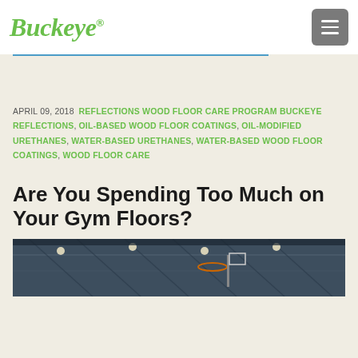Buckeye®
APRIL 09, 2018 REFLECTIONS WOOD FLOOR CARE PROGRAM BUCKEYE REFLECTIONS, OIL-BASED WOOD FLOOR COATINGS, OIL-MODIFIED URETHANES, WATER-BASED URETHANES, WATER-BASED WOOD FLOOR COATINGS, WOOD FLOOR CARE
Are You Spending Too Much on Your Gym Floors?
[Figure (photo): Interior of a gymnasium showing ceiling with lights and basketball hoop structure]